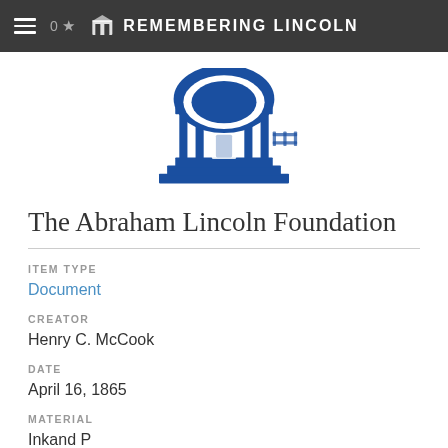0 ★  REMEMBERING LINCOLN
[Figure (logo): The Abraham Lincoln Foundation building logo — a blue illustration of a classical building with columns and steps]
The Abraham Lincoln Foundation
ITEM TYPE
Document
CREATOR
Henry C. McCook
DATE
April 16, 1865
MATERIAL
Inkand P...